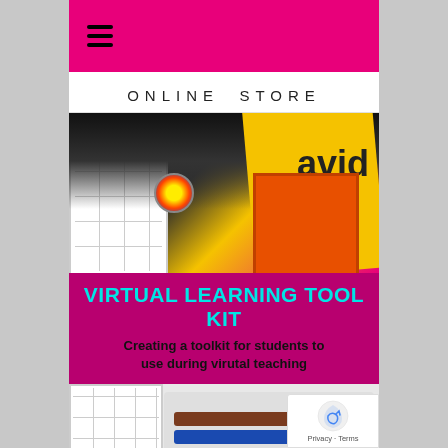[Figure (screenshot): Pink top navigation bar with hamburger menu icon (three horizontal lines)]
ONLINE STORE
[Figure (photo): Photo of virtual learning toolkit materials including a whiteboard with grid lines, yellow folder labeled 'David', orange card, a decorative pin/bookmark, against a dark background]
VIRTUAL LEARNING TOOL KIT
Creating a toolkit for students to use during virutal teaching
[Figure (photo): Bottom photo showing plastic bag with brown and blue markers/rulers and an orange marker]
[Figure (other): reCAPTCHA badge with Privacy - Terms text]